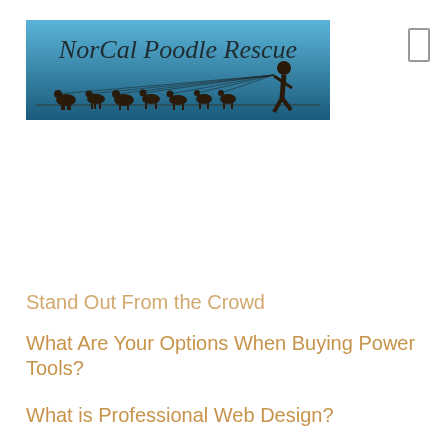[Figure (logo): NorCal Poodle Rescue logo — blue gradient background with silhouette of a person walking multiple dogs on leashes, cursive text reading 'NorCal Poodle Rescue']
Stand Out From the Crowd
What Are Your Options When Buying Power Tools?
What is Professional Web Design?
What to Expect From DIY Floor Sanding in Adelaide
What to Expect From Your Orthopedic Surgeon in Adelaide